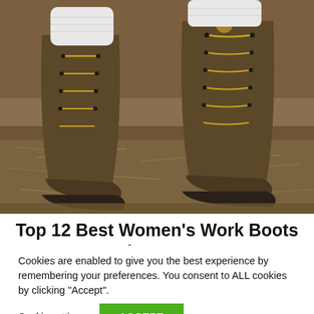[Figure (photo): Close-up photograph of two brown leather work boots with yellow laces, worn over white socks, standing on dry pine needles and leaf litter ground cover.]
Top 12 Best Women's Work Boots in 2022
Cookies are enabled to give you the best experience by remembering your preferences. You consent to ALL cookies by clicking "Accept".
Cookie settings | ACCEPT